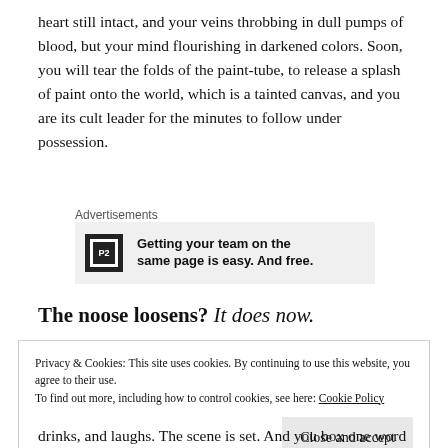heart still intact, and your veins throbbing in dull pumps of blood, but your mind flourishing in darkened colors. Soon, you will tear the folds of the paint-tube, to release a splash of paint onto the world, which is a tainted canvas, and you are its cult leader for the minutes to follow under possession.
Advertisements
[Figure (other): P2 advertisement banner: logo with 'P2' text and ad copy 'Getting your team on the same page is easy. And free.']
The noose loosens? It does now.
Privacy & Cookies: This site uses cookies. By continuing to use this website, you agree to their use.
To find out more, including how to control cookies, see here: Cookie Policy
[Close and accept button]
drinks, and laughs. The scene is set. And you box one word